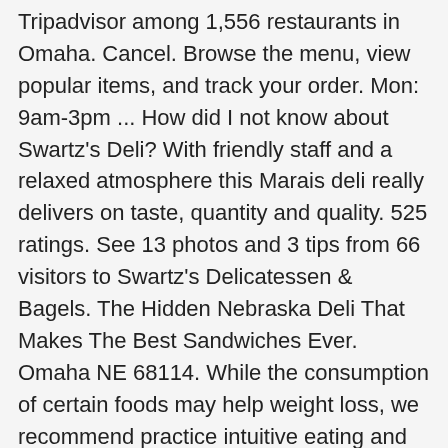Tripadvisor among 1,556 restaurants in Omaha. Cancel. Browse the menu, view popular items, and track your order. Mon: 9am-3pm ... How did I not know about Swartz's Deli? With friendly staff and a relaxed atmosphere this Marais deli really delivers on taste, quantity and quality. 525 ratings. See 13 photos and 3 tips from 66 visitors to Swartz's Delicatessen & Bagels. The Hidden Nebraska Deli That Makes The Best Sandwiches Ever. Omaha NE 68114. While the consumption of certain foods may help weight loss, we recommend practice intuitive eating and eating healthy 80% of the time plus occasional indulgence. Explore menus for restaurants in Omaha, NE on MenuPages, your online source for restaurant menus in Omaha. Menu & Reservations Make Reservations . 211 Reviews (402) 905-2792 Website. Check out the menu, reviews, and on-time delivery ratings. 8718 Pacific St, Omaha NE 68114 (402) 905-2792; Start an order Taste of ... ... Preorder for 2:45pm. Get delivery from Swartz's Delicatessen & Bagels super-fast to your door. 16 rue des Ecouffes, 75004 Paris France +33 1 48 87 31 29 Website Menu. (KMTV) — If you're looking